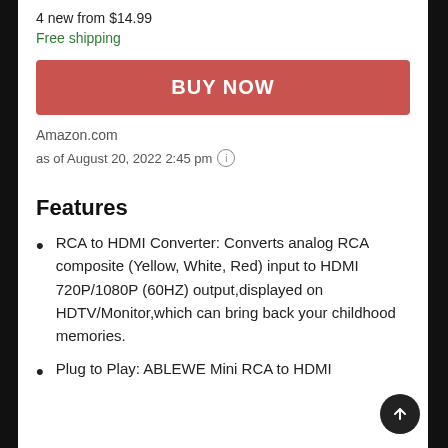4 new from $14.99
Free shipping
BUY NOW
Amazon.com
as of August 20, 2022 2:45 pm
Features
RCA to HDMI Converter: Converts analog RCA composite (Yellow, White, Red) input to HDMI 720P/1080P (60HZ) output,displayed on HDTV/Monitor,which can bring back your childhood memories.
Plug to Play: ABLEWE Mini RCA to HDMI